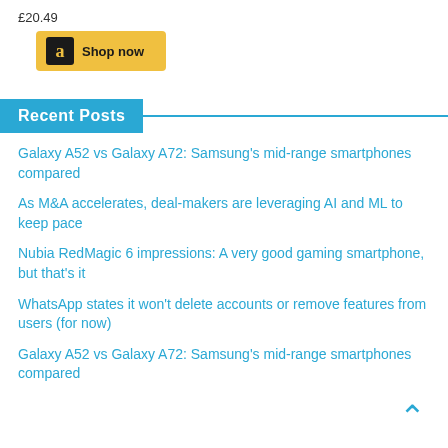£20.49
[Figure (other): Amazon 'Shop now' button with yellow background and Amazon logo]
Recent Posts
Galaxy A52 vs Galaxy A72: Samsung's mid-range smartphones compared
As M&A accelerates, deal-makers are leveraging AI and ML to keep pace
Nubia RedMagic 6 impressions: A very good gaming smartphone, but that's it
WhatsApp states it won't delete accounts or remove features from users (for now)
Galaxy A52 vs Galaxy A72: Samsung's mid-range smartphones compared